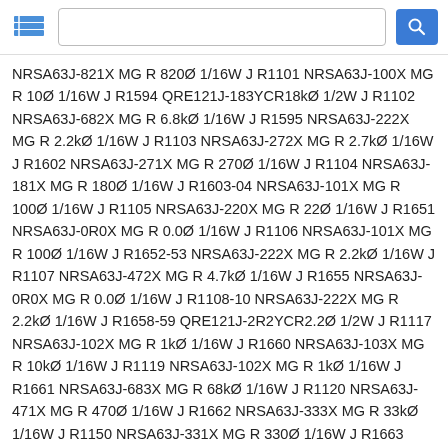Search interface header with logo and search bar
NRSA63J-821X MG R 820Ø 1/16W J R1101 NRSA63J-100X MG R 10Ø 1/16W J R1594 QRE121J-183YCR18kØ 1/2W J R1102 NRSA63J-682X MG R 6.8kØ 1/16W J R1595 NRSA63J-222X MG R 2.2kØ 1/16W J R1103 NRSA63J-272X MG R 2.7kØ 1/16W J R1602 NRSA63J-271X MG R 270Ø 1/16W J R1104 NRSA63J-181X MG R 180Ø 1/16W J R1603-04 NRSA63J-101X MG R 100Ø 1/16W J R1105 NRSA63J-220X MG R 22Ø 1/16W J R1651 NRSA63J-0R0X MG R 0.0Ø 1/16W J R1106 NRSA63J-101X MG R 100Ø 1/16W J R1652-53 NRSA63J-222X MG R 2.2kØ 1/16W J R1107 NRSA63J-472X MG R 4.7kØ 1/16W J R1655 NRSA63J-0R0X MG R 0.0Ø 1/16W J R1108-10 NRSA63J-222X MG R 2.2kØ 1/16W J R1658-59 QRE121J-2R2YCR2.2Ø 1/2W J R1117 NRSA63J-102X MG R 1kØ 1/16W J R1660 NRSA63J-103X MG R 10kØ 1/16W J R1119 NRSA63J-102X MG R 1kØ 1/16W J R1661 NRSA63J-683X MG R 68kØ 1/16W J R1120 NRSA63J-471X MG R 470Ø 1/16W J R1662 NRSA63J-333X MG R 33kØ 1/16W J R1150 NRSA63J-331X MG R 330Ø 1/16W J R1663 NRSA63J-103X MG R 10kØ 1/16W J R1151 NRSA63J-222X MG R 2.2kØ 1/16W J R1664 NRSA63J-222X MG R 2.2kØ 1/16W J R1152 NRSA63J-121X MG R 120Ø 1/16W J R1665-66 NRSA63J-561X